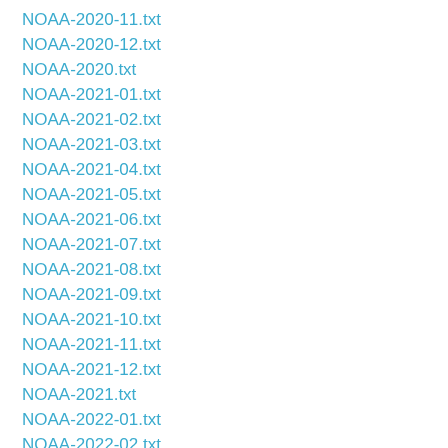NOAA-2020-11.txt
NOAA-2020-12.txt
NOAA-2020.txt
NOAA-2021-01.txt
NOAA-2021-02.txt
NOAA-2021-03.txt
NOAA-2021-04.txt
NOAA-2021-05.txt
NOAA-2021-06.txt
NOAA-2021-07.txt
NOAA-2021-08.txt
NOAA-2021-09.txt
NOAA-2021-10.txt
NOAA-2021-11.txt
NOAA-2021-12.txt
NOAA-2021.txt
NOAA-2022-01.txt
NOAA-2022-02.txt
NOAA-2022-03.txt
NOAA-2022-04.txt
NOAA-2022-05.txt
NOAA-2022-06.txt
NOAA-2022-07.txt